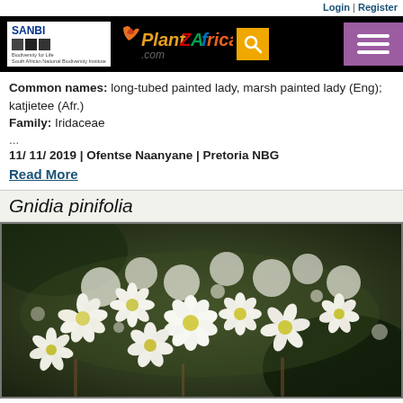Login | Register
[Figure (logo): SANBI PlantZAfrica.com website header with logo, search button, and menu button]
Common names: long-tubed painted lady, marsh painted lady (Eng); katjietee (Afr.)
Family: Iridaceae
...
11/11/2019 | Ofentse Naanyane | Pretoria NBG
Read More
Gnidia pinifolia
[Figure (photo): Close-up photograph of Gnidia pinifolia showing clusters of small white flowers with yellow centers against a blurred green background]